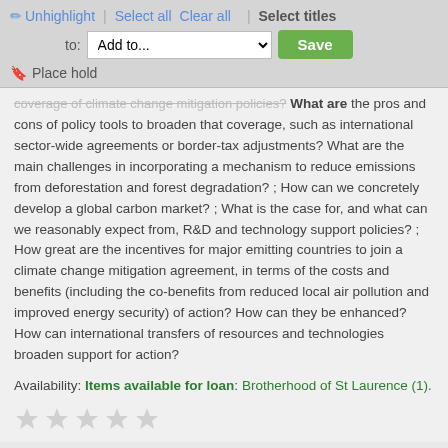Unhighlight | Select all  Clear all | Select titles
to: Add to... Save
Place hold
coverage of climate change mitigation policies? What are the pros and cons of policy tools to broaden that coverage, such as international sector-wide agreements or border-tax adjustments? What are the main challenges in incorporating a mechanism to reduce emissions from deforestation and forest degradation? ; How can we concretely develop a global carbon market? ; What is the case for, and what can we reasonably expect from, R&D and technology support policies? ; How great are the incentives for major emitting countries to join a climate change mitigation agreement, in terms of the costs and benefits (including the co-benefits from reduced local air pollution and improved energy security) of action? How can they be enhanced? How can international transfers of resources and technologies broaden support for action?
Availability: Items available for loan: Brotherhood of St Laurence (1).